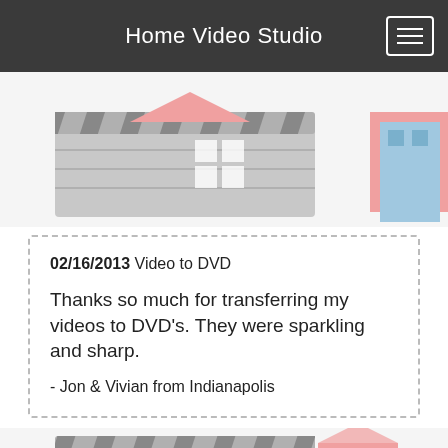Home Video Studio
[Figure (illustration): Decorative banner with movie clapperboard in gray and colorful cartoon house/building icons]
02/16/2013 Video to DVD

Thanks so much for transferring my videos to DVD's. They were sparkling and sharp.

- Jon & Vivian from Indianapolis
[Figure (illustration): Decorative banner repeated with movie clapperboard in gray and colorful cartoon house/building icons (partial, bottom of page)]